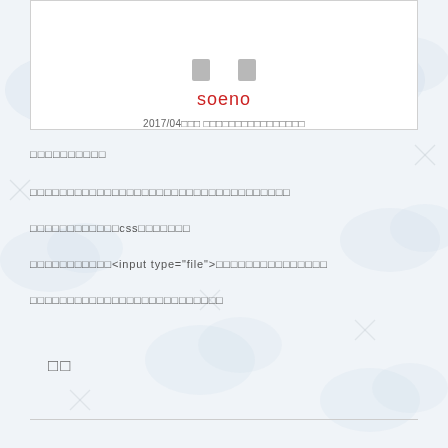[Figure (other): Profile card with two gray avatar placeholder boxes, red username 'soeno', and a date/description line]
□□□□□□□□□□
□□□□□□□□□□□□□□□□□□□□□□□□□□□□□□□□□□□□□
□□□□□□□□□□□□css□□□□□□□
□□□□□□□□□□□<input type="file">□□□□□□□□□□□□□□□□
□□□□□□□□□□□□□□□□□□□□□□□□□□
□□